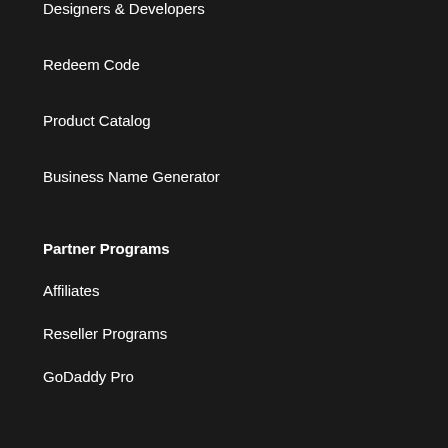Designers & Developers
Redeem Code
Product Catalog
Business Name Generator
Partner Programs
Affiliates
Reseller Programs
GoDaddy Pro
Account
My Products
Renewals & Billing
Create Account